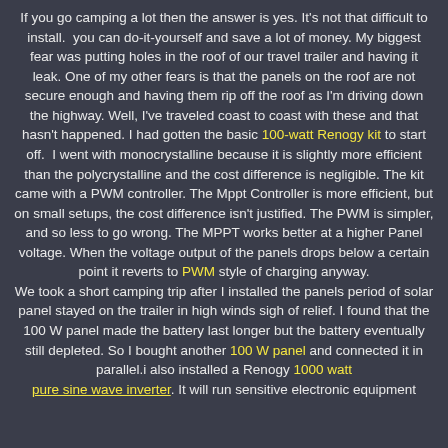If you go camping a lot then the answer is yes. It's not that difficult to install. you can do-it-yourself and save a lot of money. My biggest fear was putting holes in the roof of our travel trailer and having it leak. One of my other fears is that the panels on the roof are not secure enough and having them rip off the roof as I'm driving down the highway. Well, I've traveled coast to coast with these and that hasn't happened. I had gotten the basic 100-watt Renogy kit to start off. I went with monocrystalline because it is slightly more efficient than the polycrystalline and the cost difference is negligible. The kit came with a PWM controller. The Mppt Controller is more efficient, but on small setups, the cost difference isn't justified. The PWM is simpler, and so less to go wrong. The MPPT works better at a higher Panel voltage. When the voltage output of the panels drops below a certain point it reverts to PWM style of charging anyway. We took a short camping trip after I installed the panels period of solar panel stayed on the trailer in high winds sigh of relief. I found that the 100 W panel made the battery last longer but the battery eventually still depleted. So I bought another 100 W panel and connected it in parallel.i also installed a Renogy 1000 watt pure sine wave inverter. It will run sensitive electronic equipment